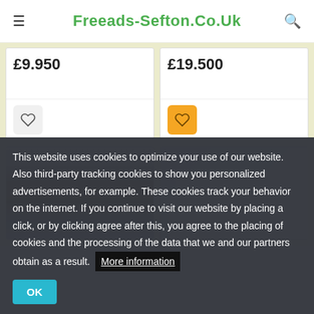Freeads-Sefton.Co.Uk
£9.950
£19.500
[Figure (photo): Partial view of a house roof against grey sky]
[Figure (photo): Partial view of a white van or caravan against blue sky]
This website uses cookies to optimize your use of our website. Also third-party tracking cookies to show you personalized advertisements, for example. These cookies track your behavior on the internet. If you continue to visit our website by placing a click, or by clicking agree after this, you agree to the placing of cookies and the processing of the data that we and our partners obtain as a result. More information